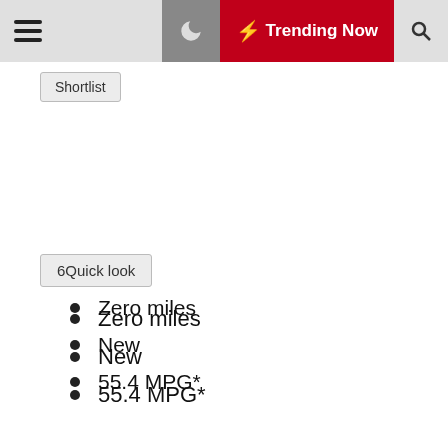Trending Now
Shortlist
6Quick look
Zero miles
New
55.4 MPG*
Hatchback
Petrol
Choice of colours
From £7995£134 per month  View this car's full finance example
1 Car: 5 Tips from Dealerships   5 Ways How Fleet Vehicle Boost Your Business